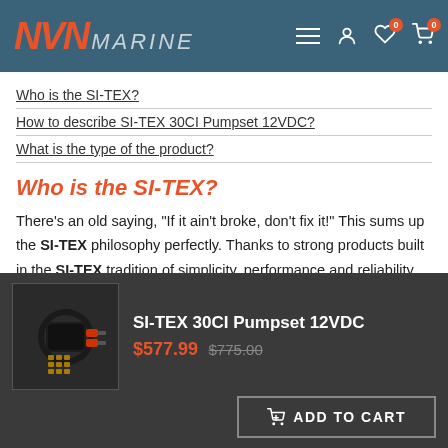NVN MARINE — navigation header with icons
Who is the SI-TEX?
How to describe SI-TEX 30CI Pumpset 12VDC?
What is the type of the product?
Who is the SI-TEX?
There's an old saying, "If it ain't broke, don't fix it!" This sums up the SI-TEX philosophy perfectly. Thanks to strong products built in the SI-TEX tradition of simplicity, performance and reliability, friendly and responsive technical support, SI-TEX business has been steadily growing. SI-TEX
[Figure (photo): Product photo of SI-TEX 30CI Pumpset 12VDC — a cylindrical black pump motor with red connectors and multiple adapter fittings]
SI-TEX 30CI Pumpset 12VDC
$577.99 $775.00
ADD TO CART